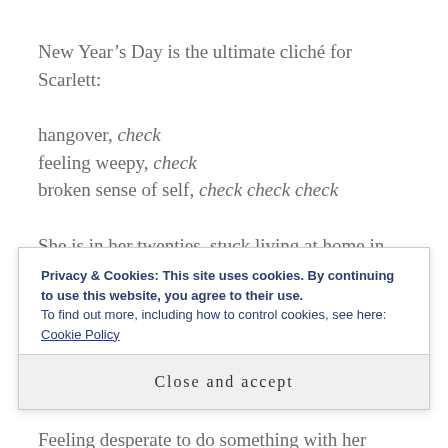New Year's Day is the ultimate cliché for Scarlett:
hangover, check
feeling weepy, check
broken sense of self, check check check
She is in her twenties, stuck living at home in small-town Topsham with an academic mother who has no time for pep-talks or
Privacy & Cookies: This site uses cookies. By continuing to use this website, you agree to their use.
To find out more, including how to control cookies, see here: Cookie Policy
Close and accept
Feeling desperate to do something with her